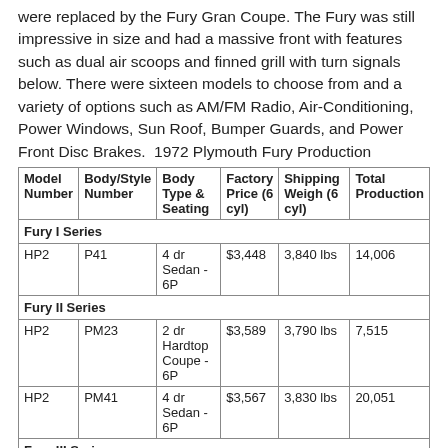were replaced by the Fury Gran Coupe. The Fury was still impressive in size and had a massive front with features such as dual air scoops and finned grill with turn signals below. There were sixteen models to choose from and a variety of options such as AM/FM Radio, Air-Conditioning, Power Windows, Sun Roof, Bumper Guards, and Power Front Disc Brakes.  1972 Plymouth Fury Production
| Model Number | Body/Style Number | Body Type & Seating | Factory Price (6 cyl) | Shipping Weigh (6 cyl) | Total Production |
| --- | --- | --- | --- | --- | --- |
| Fury I Series |  |  |  |  |  |
| HP2 | P41 | 4 dr Sedan - 6P | $3,448 | 3,840 lbs | 14,006 |
| Fury II Series |  |  |  |  |  |
| HP2 | PM23 | 2 dr Hardtop Coupe - 6P | $3,589 | 3,790 lbs | 7,515 |
| HP2 | PM41 | 4 dr Sedan - 6P | $3,567 | 3,830 lbs | 20,051 |
| Fury III Series |  |  |  |  |  |